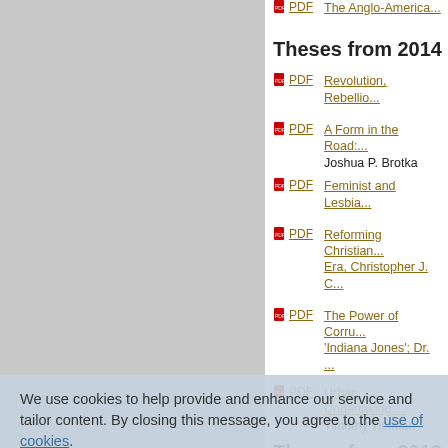Theses from 2014
PDF  The Anglo-American...
PDF  Revolution, Rebellio...
PDF  A Form in the Road:..., Joshua P. Brotka
PDF  Feminist and Lesbia...
PDF  Reforming Christian... Era, Christopher J. C...
PDF  The Power of Corru... 'Indiana Jones'; Dr. ...
PDF  Urban Undertaking:..., Timothy Tielman
Theses from 2013
PDF  The War of 1812: Th...
We use cookies to help provide and enhance our service and tailor content. By closing this message, you agree to the use of cookies.